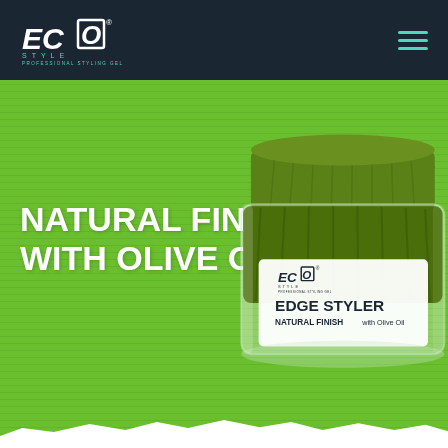[Figure (logo): ECO Style Professional Styling Gel logo in white and teal on dark navy background]
[Figure (illustration): Hamburger menu icon (three teal horizontal lines) in top right corner]
NATURAL FINISH WITH OLIVE OIL
[Figure (photo): ECO Style Edge Styler product jar with olive green lid and clear body, label reads EDGE STYLER NATURAL FINISH with Olive Oil, set on bright green textured background]